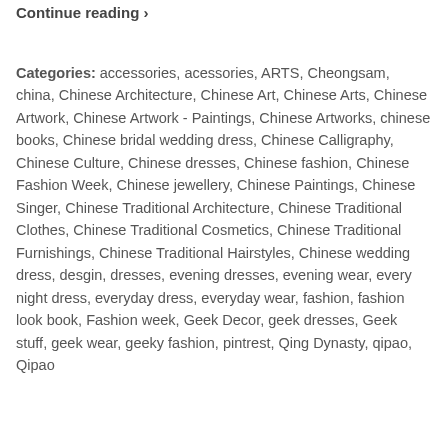Continue reading →
Categories: accessories, acessories, ARTS, Cheongsam, china, Chinese Architecture, Chinese Art, Chinese Arts, Chinese Artwork, Chinese Artwork - Paintings, Chinese Artworks, chinese books, Chinese bridal wedding dress, Chinese Calligraphy, Chinese Culture, Chinese dresses, Chinese fashion, Chinese Fashion Week, Chinese jewellery, Chinese Paintings, Chinese Singer, Chinese Traditional Architecture, Chinese Traditional Clothes, Chinese Traditional Cosmetics, Chinese Traditional Furnishings, Chinese Traditional Hairstyles, Chinese wedding dress, desgin, dresses, evening dresses, evening wear, every night dress, everyday dress, everyday wear, fashion, fashion look book, Fashion week, Geek Decor, geek dresses, Geek stuff, geek wear, geeky fashion, pintrest, Qing Dynasty, qipao, Qipao